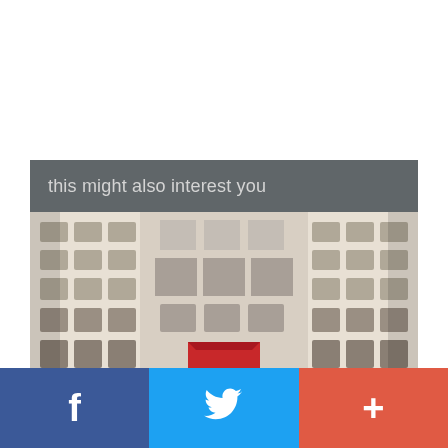this might also interest you
[Figure (photo): View of a historic European courtyard or gallery corridor, Renaissance-style architecture with arched windows, cream-colored stone facade, red awning or canopy visible at center-bottom of the building, flanked by tall columns of windows on both sides.]
[Figure (infographic): Social sharing bar with three buttons: Facebook (blue, f icon), Twitter (light blue, bird icon), and a plus/add button (red-orange).]